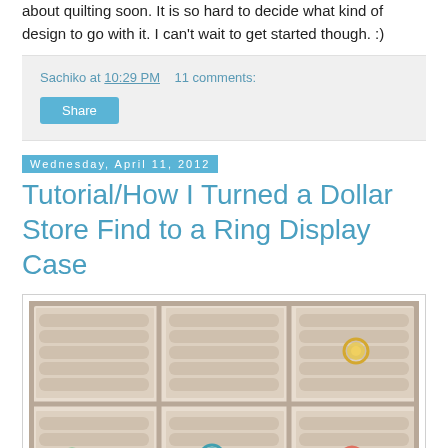about quilting soon. It is so hard to decide what kind of design to go with it. I can't wait to get started though. :)
Sachiko at 10:29 PM   11 comments:
Share
Wednesday, April 11, 2012
Tutorial/How I Turned a Dollar Store Find to a Ring Display Case
[Figure (photo): A ring display case with six compartments containing padded rolls, with three decorative rings displayed on them.]